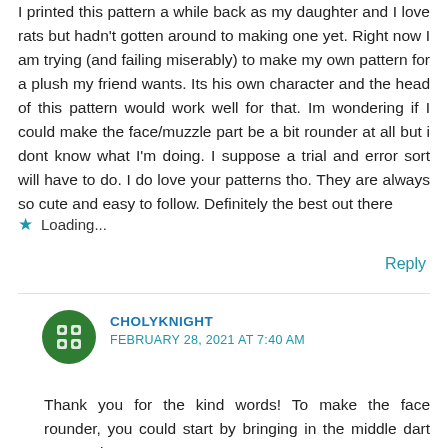I printed this pattern a while back as my daughter and I love rats but hadn't gotten around to making one yet. Right now I am trying (and failing miserably) to make my own pattern for a plush my friend wants. Its his own character and the head of this pattern would work well for that. Im wondering if I could make the face/muzzle part be a bit rounder at all but i dont know what I'm doing. I suppose a trial and error sort will have to do. I do love your patterns tho. They are always so cute and easy to follow. Definitely the best out there
Loading...
Reply
CHOLYKNIGHT
FEBRUARY 28, 2021 AT 7:40 AM
Thank you for the kind words! To make the face rounder, you could start by bringing in the middle dart area so it